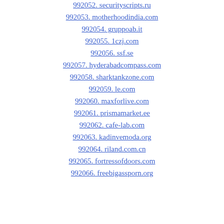992052. securityscripts.ru
992053. motherhoodindia.com
992054. gruppoab.it
992055. 1czj.com
992056. ssf.se
992057. hyderabadcompass.com
992058. sharktankzone.com
992059. le.com
992060. maxforlive.com
992061. prismamarket.ee
992062. cafe-lab.com
992063. kadinvemoda.org
992064. riland.com.cn
992065. fortressofdoors.com
992066. freebigassporn.org